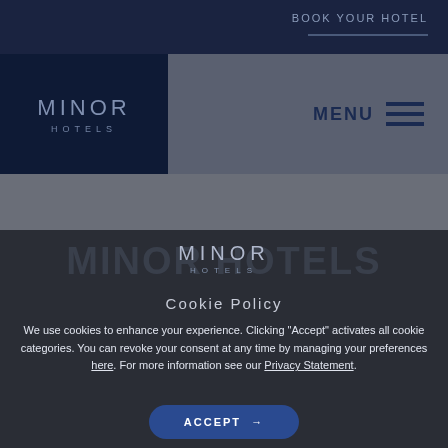BOOK YOUR HOTEL
[Figure (logo): Minor Hotels logo in dark navy navigation bar with hamburger menu icon and MENU text]
[Figure (logo): Minor Hotels logo centered in cookie policy panel]
Cookie Policy
We use cookies to enhance your experience. Clicking “Accept” activates all cookie categories. You can revoke your consent at any time by managing your preferences here. For more information see our Privacy Statement.